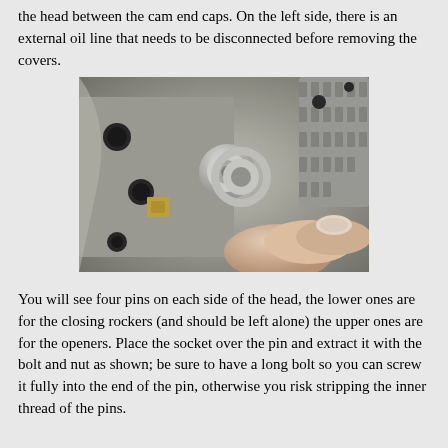the head between the cam end caps. On the left side, there is an external oil line that needs to be disconnected before removing the covers.
[Figure (photo): Close-up photograph of a hand using fingers to work on an engine component, showing cam end caps, gear teeth, pins, and metal engine head surfaces with holes and fittings.]
You will see four pins on each side of the head, the lower ones are for the closing rockers (and should be left alone) the upper ones are for the openers. Place the socket over the pin and extract it with the bolt and nut as shown; be sure to have a long bolt so you can screw it fully into the end of the pin, otherwise you risk stripping the inner thread of the pins.